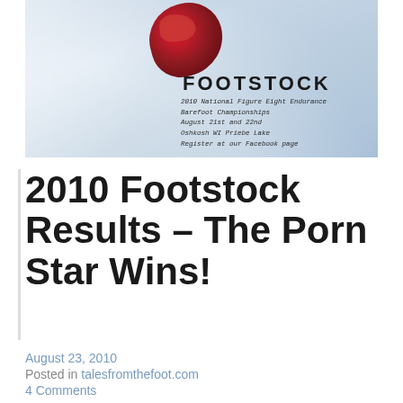[Figure (photo): Footstock event promotional image showing a raw meat cut on crumpled white paper/butcher paper, with 'FOOTSTOCK' written in large block letters and handwritten event details below it]
2010 Footstock Results – The Porn Star Wins!
August 23, 2010
Posted in talesfromthefoot.com
4 Comments